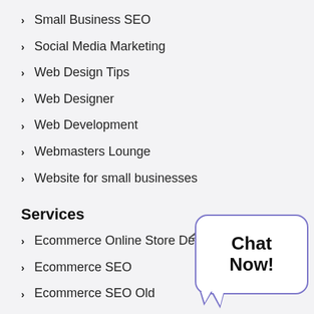Small Business SEO
Social Media Marketing
Web Design Tips
Web Designer
Web Development
Webmasters Lounge
Website for small businesses
Services
Ecommerce Online Store Develop…
Ecommerce SEO
Ecommerce SEO Old
Home 2
[Figure (illustration): Chat Now speech bubble widget with paper plane icon, purple border, white background, bold black text reading 'Chat Now!']